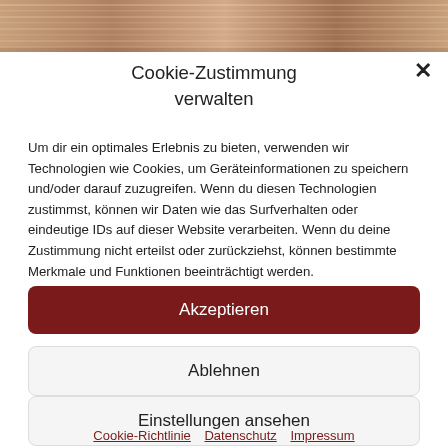[Figure (photo): Partial background photo of stacked newspapers or documents, visible at top of page]
Cookie-Zustimmung verwalten
Um dir ein optimales Erlebnis zu bieten, verwenden wir Technologien wie Cookies, um Geräteinformationen zu speichern und/oder darauf zuzugreifen. Wenn du diesen Technologien zustimmst, können wir Daten wie das Surfverhalten oder eindeutige IDs auf dieser Website verarbeiten. Wenn du deine Zustimmung nicht erteilst oder zurückziehst, können bestimmte Merkmale und Funktionen beeinträchtigt werden.
Akzeptieren
Ablehnen
Einstellungen ansehen
Cookie-Richtlinie  Datenschutz  Impressum